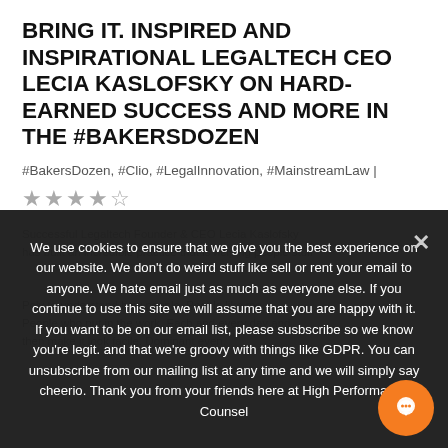BRING IT. INSPIRED AND INSPIRATIONAL LEGALTECH CEO LECIA KASLOFSKY ON HARD-EARNED SUCCESS AND MORE IN THE #BAKERSDOZEN
#BakersDozen, #Clio, #LegalInnovation, #MainstreamLaw |
★★★★☆
We use cookies to ensure that we give you the best experience on our website. We don't do weird stuff like sell or rent your email to anyone. We hate email just as much as everyone else. If you continue to use this site we will assume that you are happy with it. If you want to be on our email list, please susbscribe so we know you're legit. and that we're groovy with things like GDPR. You can unsubscribe from our mailing list at any time and we will simply say cheerio. Thank you from your friends here at High Performance Counsel
OK  READ MORE